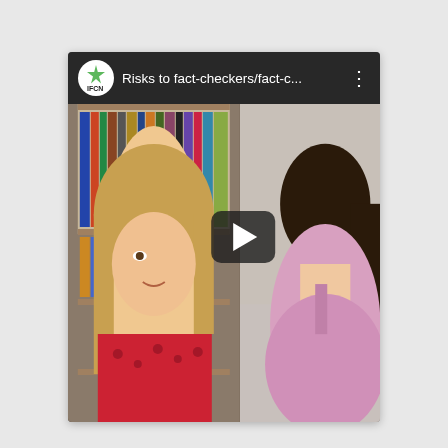[Figure (screenshot): A video thumbnail/preview showing an IFCN (International Fact-Checking Network) video titled 'Risks to fact-checkers/fact-c...' with a split-screen view of two women on a video call. The left side shows a woman with blonde hair wearing a red floral top, seated in front of a bookshelf. The right side shows a woman with dark hair wearing a pink/lavender top against a plain light background. A play button is overlaid at the center. The video has a dark top bar with the IFCN logo (white circle with a star), the truncated title, and a three-dot menu icon.]